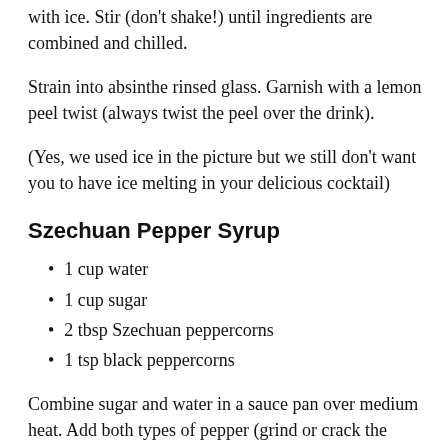with ice.  Stir (don't shake!) until ingredients are combined and chilled.
Strain into absinthe rinsed glass.  Garnish with a lemon peel twist (always twist the peel over the drink).
(Yes, we used ice in the picture but we still don't want you to have ice melting in your delicious cocktail)
Szechuan Pepper Syrup
1 cup water
1 cup sugar
2 tbsp Szechuan peppercorns
1 tsp black peppercorns
Combine sugar and water in a sauce pan over medium heat. Add both types of pepper (grind or crack the corns before adding to the syrup).  Simmer for 3-5 minutes.  Let cool, strain